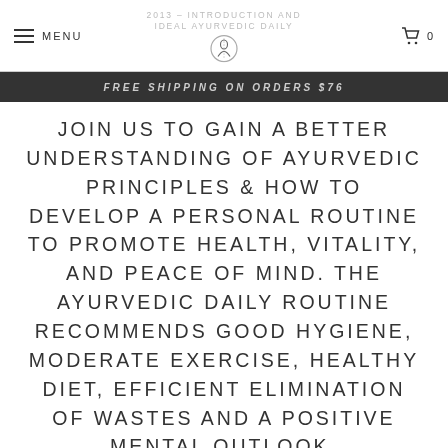2013 – INTRODUCTION AND IDEAL AYURVEDIC DAILY
FREE SHIPPING ON ORDERS $76
JOIN US TO GAIN A BETTER UNDERSTANDING OF AYURVEDIC PRINCIPLES & HOW TO DEVELOP A PERSONAL ROUTINE TO PROMOTE HEALTH, VITALITY, AND PEACE OF MIND. THE AYURVEDIC DAILY ROUTINE RECOMMENDS GOOD HYGIENE, MODERATE EXERCISE, HEALTHY DIET, EFFICIENT ELIMINATION OF WASTES AND A POSITIVE MENTAL OUTLOOK.